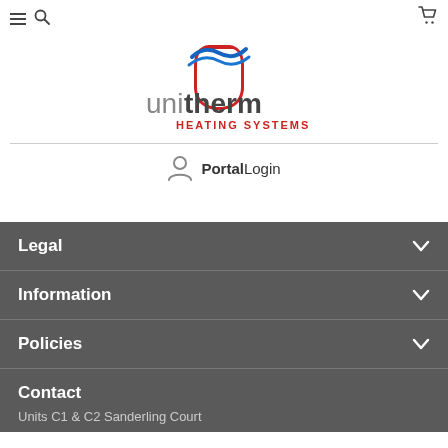[Figure (logo): Unitherm Heating Systems logo with red U shape, blue wave, and text 'unitherm HEATING SYSTEMS']
Portal Login
Legal
Information
Policies
Contact
Units C1 & C2 Sanderling Court